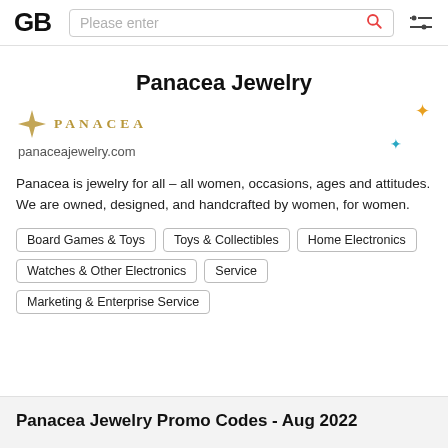GB | Please enter | search icon | filter icon
Panacea Jewelry
[Figure (logo): Panacea brand logo: four-pointed star diamond shape in gold with text PANACEA in gold letters]
panaceajewelry.com
Panacea is jewelry for all – all women, occasions, ages and attitudes. We are owned, designed, and handcrafted by women, for women.
Board Games & Toys
Toys & Collectibles
Home Electronics
Watches & Other Electronics
Service
Marketing & Enterprise Service
Panacea Jewelry Promo Codes - Aug 2022